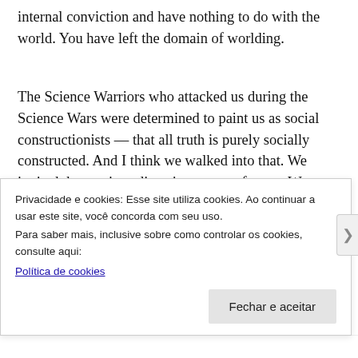internal conviction and have nothing to do with the world. You have left the domain of worlding.
The Science Warriors who attacked us during the Science Wars were determined to paint us as social constructionists — that all truth is purely socially constructed. And I think we walked into that. We invited those misreadings in a range of ways. We could have been more careful about listening and engaging more slowly. It was all too easy to read us in the way the Science Warriors did. Then the right wing took the Science Wars and ran with it, which eventually helped nourish the whole fake-news discourse.
Privacidade e cookies: Esse site utiliza cookies. Ao continuar a usar este site, você concorda com seu uso.
Para saber mais, inclusive sobre como controlar os cookies, consulte aqui:
Política de cookies